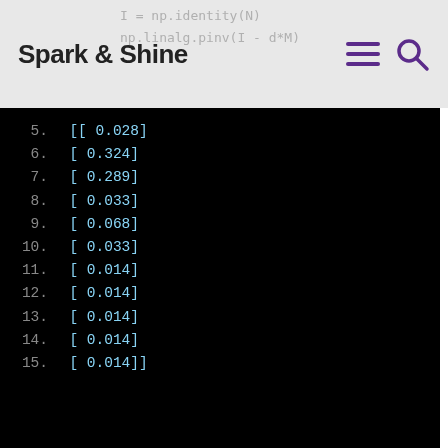Spark & Shine
[Figure (screenshot): Code terminal output showing numbered list items 5-15 with NumPy array values: 5. [[ 0.028]] 6. [ 0.324] 7. [ 0.289] 8. [ 0.033] 9. [ 0.068] 10. [ 0.033] 11. [ 0.014] 12. [ 0.014] 13. [ 0.014] 14. [ 0.014] 15. [ 0.014]]]
normalized R PR 1
[Figure (screenshot): Code terminal showing: 1. R = R/sum(R)  # normalized R, so tha  2.  3. [[ 0.033]  4. [ 0.384]]